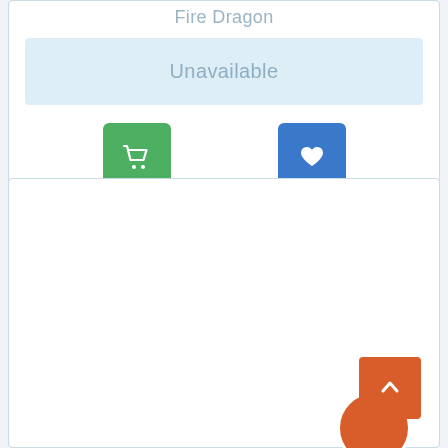Fire Dragon
Unavailable
[Figure (screenshot): Green shopping cart button and blue heart/wishlist button]
[Figure (screenshot): White content card section, empty, with orange back-to-top arrow button and partially visible orange circle badge at bottom right]